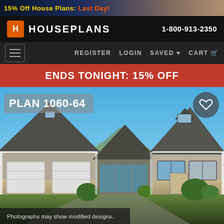15% Off House Plans: Last Day!
HOUSEPLANS  1-800-913-2350
REGISTER  LOGIN  SAVED  CART
ENDS TONIGHT: 15% OFF
[Figure (photo): Rendered front elevation of a craftsman ranch-style house plan (Plan 1060-64) with two-car garage, stone accents, and mountain backdrop]
Photographs may show modified designs.